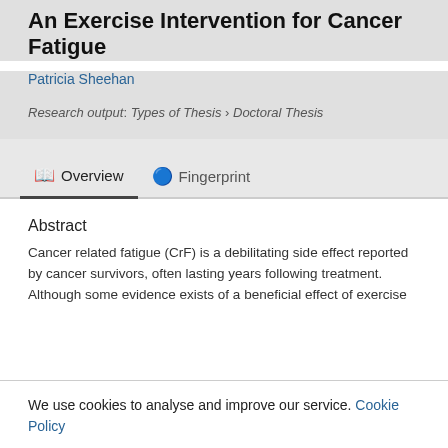An Exercise Intervention for Cancer Fatigue
Patricia Sheehan
Research output: Types of Thesis › Doctoral Thesis
Abstract
Cancer related fatigue (CrF) is a debilitating side effect reported by cancer survivors, often lasting years following treatment. Although some evidence exists of a beneficial effect of exercise
We use cookies to analyse and improve our service. Cookie Policy